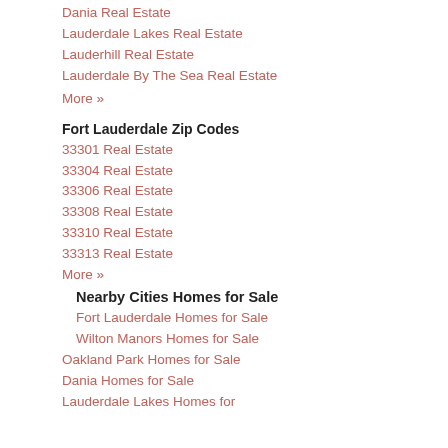Dania Real Estate
Lauderdale Lakes Real Estate
Lauderhill Real Estate
Lauderdale By The Sea Real Estate
More »
Fort Lauderdale Zip Codes
33301 Real Estate
33304 Real Estate
33306 Real Estate
33308 Real Estate
33310 Real Estate
33313 Real Estate
More »
Nearby Cities Homes for Sale
Fort Lauderdale Homes for Sale
Wilton Manors Homes for Sale
Oakland Park Homes for Sale
Dania Homes for Sale
Lauderdale Lakes Homes for